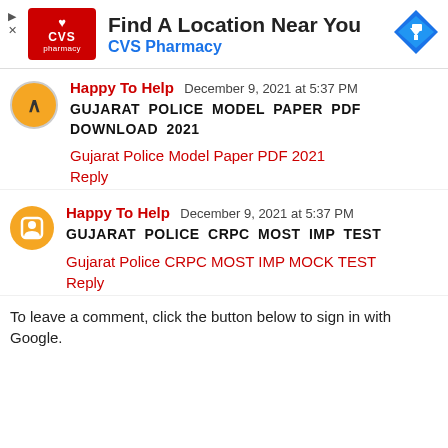[Figure (other): CVS Pharmacy advertisement banner with CVS logo, text 'Find A Location Near You' and 'CVS Pharmacy', and a blue navigation arrow icon]
Happy To Help  December 9, 2021 at 5:37 PM
GUJARAT POLICE MODEL PAPER PDF DOWNLOAD 2021
Gujarat Police Model Paper PDF 2021
Reply
Happy To Help  December 9, 2021 at 5:37 PM
GUJARAT POLICE CRPC MOST IMP TEST
Gujarat Police CRPC MOST IMP MOCK TEST
Reply
To leave a comment, click the button below to sign in with Google.